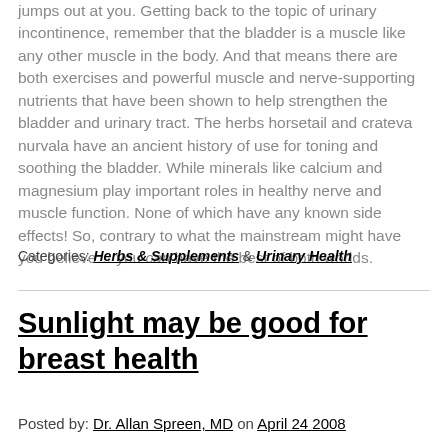jumps out at you. Getting back to the topic of urinary incontinence, remember that the bladder is a muscle like any other muscle in the body. And that means there are both exercises and powerful muscle and nerve-supporting nutrients that have been shown to help strengthen the bladder and urinary tract. The herbs horsetail and crateva nurvala have an ancient history of use for toning and soothing the bladder. While minerals like calcium and magnesium play important roles in healthy nerve and muscle function. None of which have any known side effects! So, contrary to what the mainstream might have you believe… you can have the best of both worlds.
Categories: Herbs & Supplements & Urinary Health
Sunlight may be good for breast health
Posted by: Dr. Allan Spreen, MD on April 24 2008